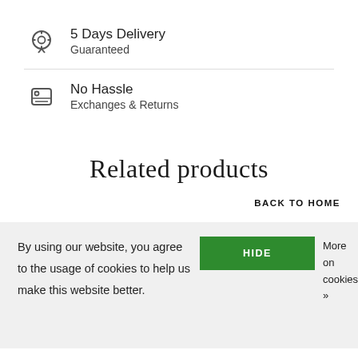5 Days Delivery Guaranteed
No Hassle Exchanges & Returns
Related products
BACK TO HOME
By using our website, you agree to the usage of cookies to help us make this website better.
HIDE
More on cookies »